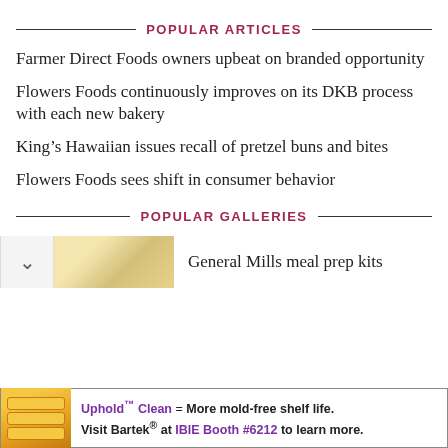POPULAR ARTICLES
Farmer Direct Foods owners upbeat on branded opportunity
Flowers Foods continuously improves on its DKB process with each new bakery
King’s Hawaiian issues recall of pretzel buns and bites
Flowers Foods sees shift in consumer behavior
POPULAR GALLERIES
General Mills meal prep kits
[Figure (photo): Bread/baked goods advertisement image for Bartek at IBIE Booth #6212]
Uphold™ Clean = More mold-free shelf life. Visit Bartek® at IBIE Booth #6212 to learn more.